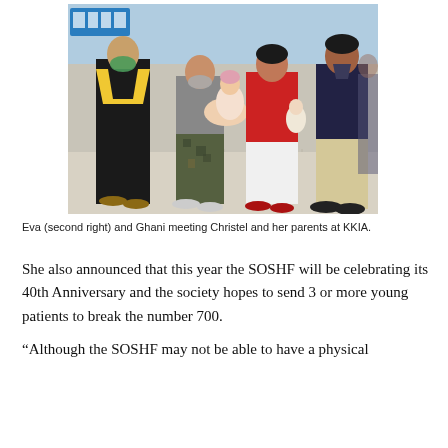[Figure (photo): Group photo of four people standing in what appears to be an airport (KKIA). On the left, a man wearing a black outfit with yellow and gold traditional neckline trim and a green surgical mask. Center-left, a woman in a gray top and camouflage pants wearing a face mask, holding a newborn baby. Center-right, a woman in a red top and white pants holding a small stuffed doll/toy. Far right, a man in a dark polo shirt and beige pants. They appear to be meeting at an airport terminal.]
Eva (second right) and Ghani meeting Christel and her parents at KKIA.
She also announced that this year the SOSHF will be celebrating its 40th Anniversary and the society hopes to send 3 or more young patients to break the number 700.
“Although the SOSHF may not be able to have a physical